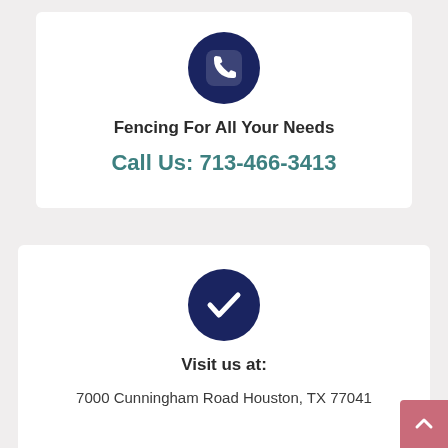[Figure (illustration): Dark navy blue circle with a phone/call icon (rounded square phone icon) in white]
Fencing For All Your Needs
Call Us: 713-466-3413
[Figure (illustration): Dark navy blue circle with a white checkmark icon]
Visit us at:
7000 Cunningham Road Houston, TX 77041